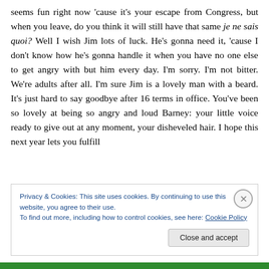seems fun right now 'cause it's your escape from Congress, but when you leave, do you think it will still have that same je ne sais quoi? Well I wish Jim lots of luck. He's gonna need it, 'cause I don't know how he's gonna handle it when you have no one else to get angry with but him every day. I'm sorry. I'm not bitter. We're adults after all. I'm sure Jim is a lovely man with a beard. It's just hard to say goodbye after 16 terms in office. You've been so lovely at being so angry and loud Barney: your little voice ready to give out at any moment, your disheveled hair. I hope this next year lets you fulfill
Privacy & Cookies: This site uses cookies. By continuing to use this website, you agree to their use. To find out more, including how to control cookies, see here: Cookie Policy